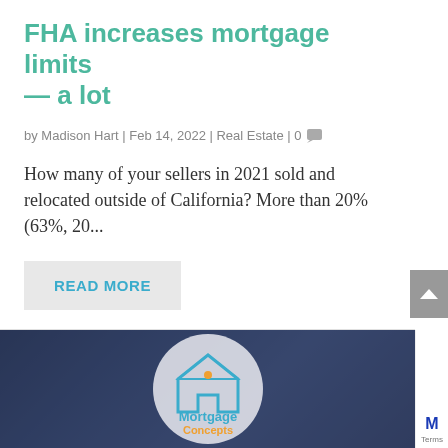FHA increases mortgage limits — a lot
by Madison Hart | Feb 14, 2022 | Real Estate | 0
How many of your sellers in 2021 sold and relocated outside of California? More than 20% (63%, 20...
READ MORE
[Figure (logo): Mortgage Concepts logo on a circular background overlaid on a dark blue blurred photo of a person in a suit]